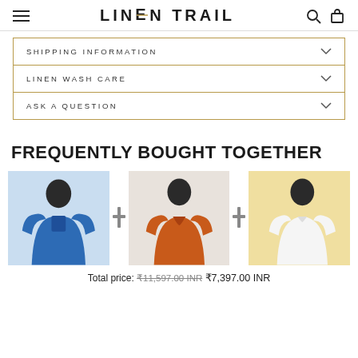LINEN TRAIL
SHIPPING INFORMATION
LINEN WASH CARE
ASK A QUESTION
FREQUENTLY BOUGHT TOGETHER
[Figure (photo): Three men's shirts shown: blue long-sleeve linen shirt, orange polo short-sleeve shirt, white long-sleeve linen shirt on yellow background. Plus icons between them.]
Total price: ₹11,597.00 INR ₹7,397.00 INR